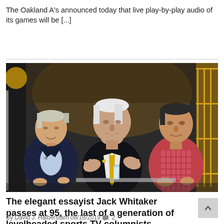The Oakland A's announced today that live play-by-play audio of its games will be [...]
[Figure (photo): Three men seated on a panel stage. The center man is elderly, wearing a black suit with a yellow tie and yellow pocket square, gesturing with both hands. Left man is in a dark suit, smiling. Right man is in a red/pink checked shirt.]
The elegant essayist Jack Whitaker passes at 95, the last of a generation of levelheaded sports TV columnists
By David J. Halberstam 08/18/2019 💬 2